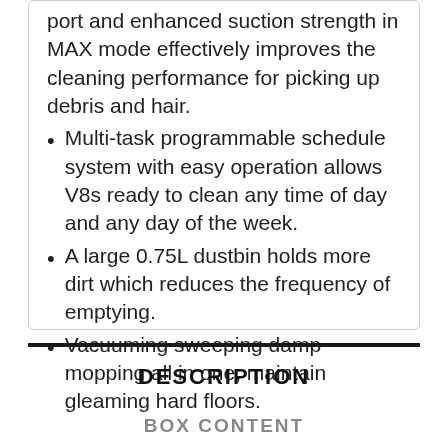port and enhanced suction strength in MAX mode effectively improves the cleaning performance for picking up debris and hair.
Multi-task programmable schedule system with easy operation allows V8s ready to clean any time of day and any day of the week.
A large 0.75L dustbin holds more dirt which reduces the frequency of emptying.
Vacuuming sweeping damp mopping all in one, maintain gleaming hard floors.
DESCRIPTION
BOX CONTENT